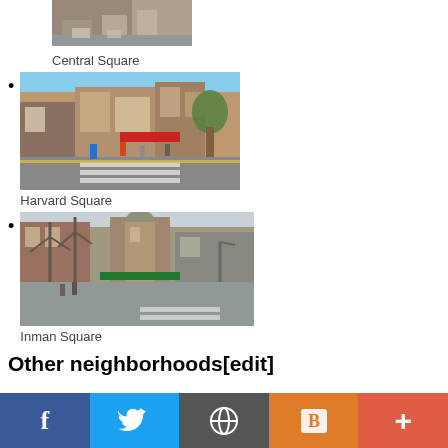[Figure (photo): Street view of Central Square, urban intersection with buildings and cars]
Central Square
[Figure (photo): Street view of Harvard Square, pedestrians crossing a busy intersection with brick buildings]
Harvard Square
[Figure (photo): Street view of Inman Square, intersection with brick buildings and crosswalk]
Inman Square
Other neighborhoods[edit]
f  [Twitter]  [WordPress]  [Blogger]  +